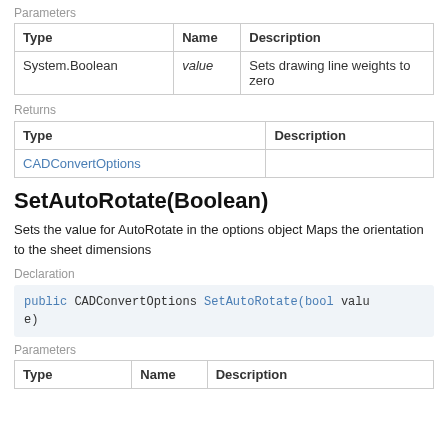Parameters
| Type | Name | Description |
| --- | --- | --- |
| System.Boolean | value | Sets drawing line weights to zero |
Returns
| Type | Description |
| --- | --- |
| CADConvertOptions |  |
SetAutoRotate(Boolean)
Sets the value for AutoRotate in the options object Maps the orientation to the sheet dimensions
Declaration
Parameters
| Type | Name | Description |
| --- | --- | --- |